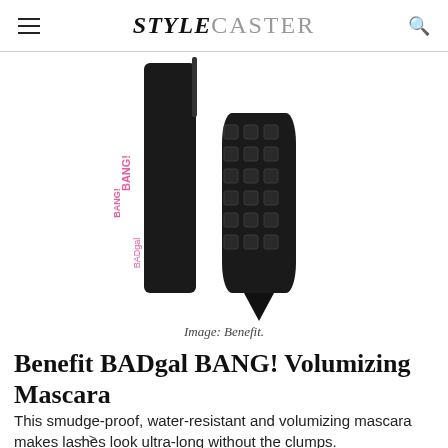STYLECASTER
[Figure (photo): Benefit BADgal BANG! mascara product shot showing the black tube with pink lettering and the studded wand cap]
Image: Benefit.
Benefit BADgal BANG! Volumizing Mascara
This smudge-proof, water-resistant and volumizing mascara makes lashes look ultra-long without the clumps.
-->